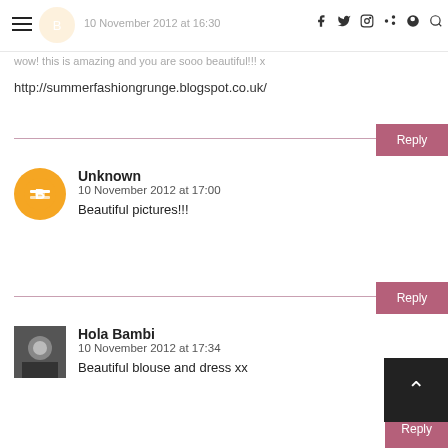10 November 2012 at 16:30
wow! this is amazing and you are sooo beautiful!!! x
http://summerfashiongrunge.blogspot.co.uk/
Reply
Unknown
10 November 2012 at 17:00
Beautiful pictures!!!
Reply
Hola Bambi
10 November 2012 at 17:34
Beautiful blouse and dress xx
Reply